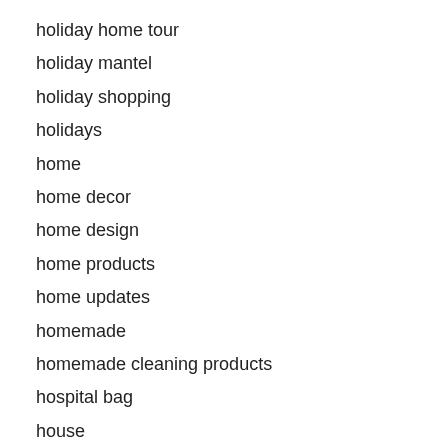holiday home tour
holiday mantel
holiday shopping
holidays
home
home decor
home design
home products
home updates
homemade
homemade cleaning products
hospital bag
house
HOUSE & HOME